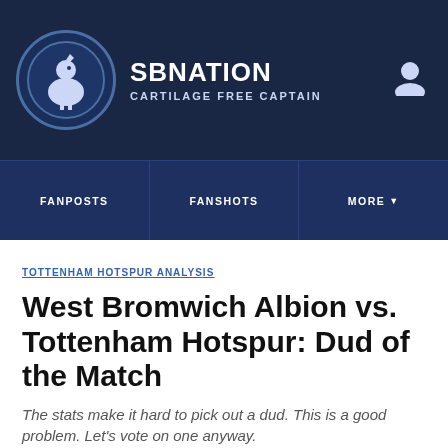SBNATION CARTILAGE FREE CAPTAIN
FANPOSTS | FANSHOTS | MORE
TOTTENHAM HOTSPUR ANALYSIS
West Bromwich Albion vs. Tottenham Hotspur: Dud of the Match
The stats make it hard to pick out a dud. This is a good problem. Let's vote on one anyway.
By Kim McCauley | @lgbtqfc | Feb 4, 2013, 6:54pm GMT